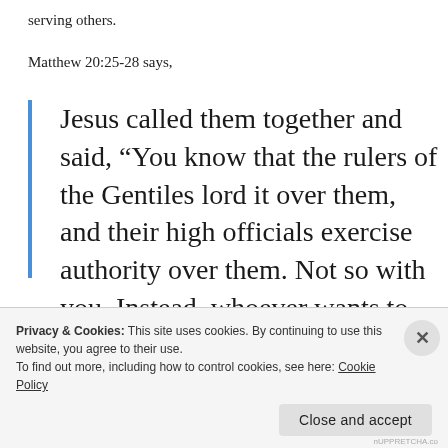serving others.
Matthew 20:25-28 says,
Jesus called them together and said, “You know that the rulers of the Gentiles lord it over them, and their high officials exercise authority over them. Not so with you. Instead, whoever wants to become great
Privacy & Cookies: This site uses cookies. By continuing to use this website, you agree to their use.
To find out more, including how to control cookies, see here: Cookie Policy
Close and accept